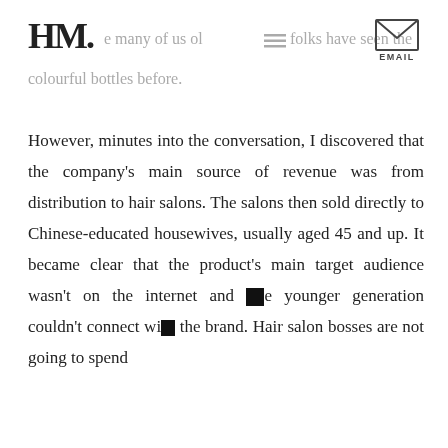HM. many of us older folks have seen these colourful bottles before. EMAIL
However, minutes into the conversation, I discovered that the company's main source of revenue was from distribution to hair salons. The salons then sold directly to Chinese-educated housewives, usually aged 45 and up. It became clear that the product's main target audience wasn't on the internet and the younger generation couldn't connect with the brand. Hair salon bosses are not going to spend